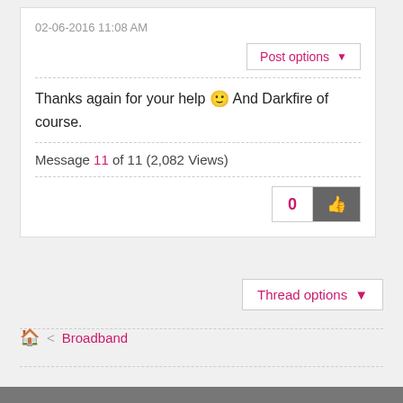02-06-2016 11:08 AM
Post options ▼
Thanks again for your help 🙂 And Darkfire of course.
Message 11 of 11 (2,082 Views)
0
Thread options ▼
🏠 < Broadband